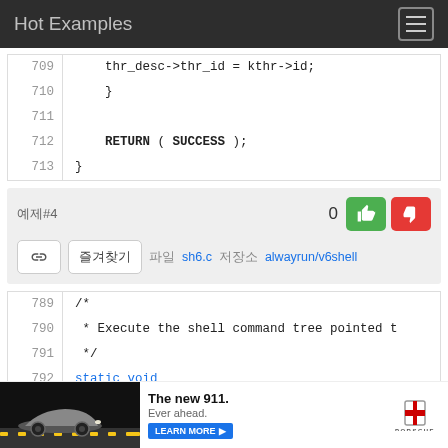Hot Examples
[Figure (screenshot): Code snippet lines 709-713 showing C code: thr_desc->thr_id = kthr->id; closing brace; RETURN ( SUCCESS );]
예제#4  0  thumbs up  thumbs down  링크  즐겨찾기  파일 sh6.c  저장소 alwayrun/v6shell
[Figure (screenshot): Code snippet lines 789-792 showing C code comment and static void declaration]
[Figure (photo): Porsche 911 advertisement: The new 911. Ever ahead. LEARN MORE button and Porsche logo.]